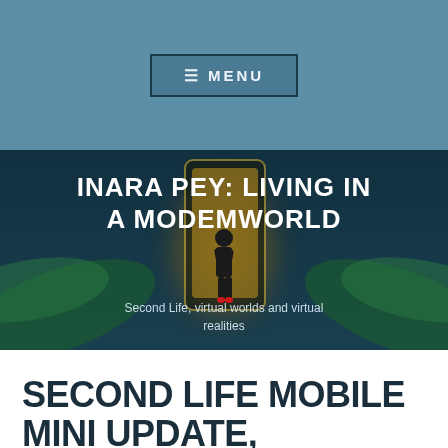≡ MENU
[Figure (illustration): Hero banner image showing a stylized illustration of a woman in silhouette standing before a glowing smartphone-like portal surrounded by tropical foliage in dark blue and teal tones. Overlaid with the blog title 'INARA PEY: LIVING IN A MODEMWORLD' and subtitle 'Second Life, virtual worlds and virtual realities'.]
INARA PEY: LIVING IN A MODEMWORLD
Second Life, virtual worlds and virtual realities
SECOND LIFE MOBILE MINI UPDATE, AUGUST 2020 WITH